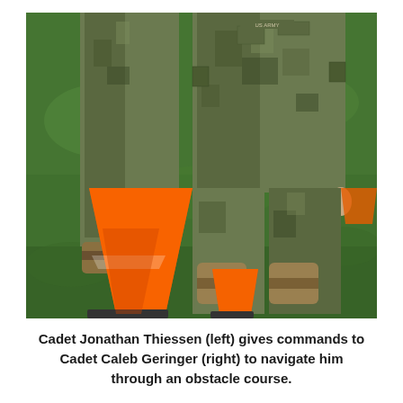[Figure (photo): Two soldiers in camouflage uniforms standing on green grass. Orange traffic cones are visible on the ground. The soldier on the left is partially visible from the waist down. The soldier on the right faces the camera showing full torso and legs.]
Cadet Jonathan Thiessen (left) gives commands to Cadet Caleb Geringer (right) to navigate him through an obstacle course.